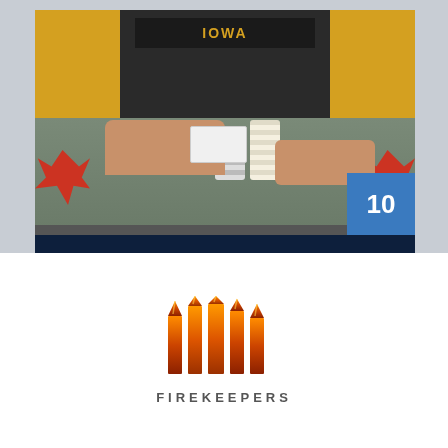[Figure (photo): Person in yellow hoodie with 'IOWA' text playing poker at a casino table with chips, red maple leaf decorations visible]
Gary Brakke
[Figure (logo): FireKeepers casino logo with flame towers graphic above the text FIREKEEPERS]